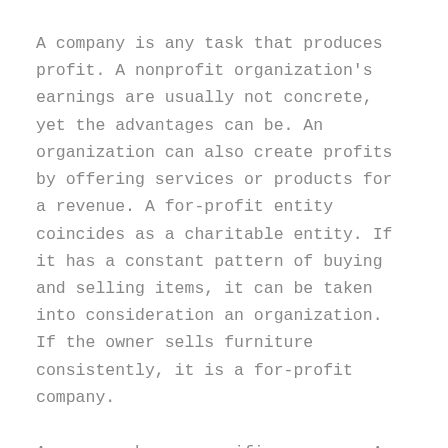A company is any task that produces profit. A nonprofit organization's earnings are usually not concrete, yet the advantages can be. An organization can also create profits by offering services or products for a revenue. A for-profit entity coincides as a charitable entity. If it has a constant pattern of buying and selling items, it can be taken into consideration an organization. If the owner sells furniture consistently, it is a for-profit company.
A company has a specific purpose. A common goal is to earn a revenue. For example, a company might offer an item to an end-user. A 2nd instance is to market a home for cash. A 3rd example is to market a structure for cash. The same idea gets a not-for-